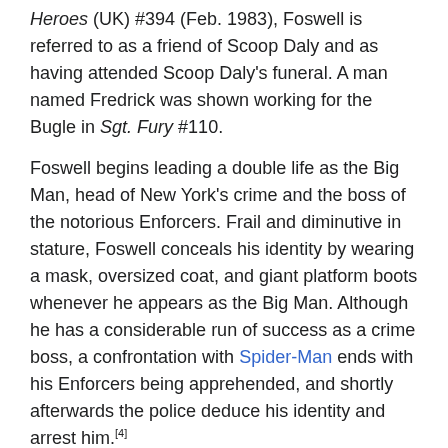Heroes (UK) #394 (Feb. 1983), Foswell is referred to as a friend of Scoop Daly and as having attended Scoop Daly's funeral. A man named Fredrick was shown working for the Bugle in Sgt. Fury #110.
Foswell begins leading a double life as the Big Man, head of New York's crime and the boss of the notorious Enforcers. Frail and diminutive in stature, Foswell conceals his identity by wearing a mask, oversized coat, and giant platform boots whenever he appears as the Big Man. Although he has a considerable run of success as a crime boss, a confrontation with Spider-Man ends with his Enforcers being apprehended, and shortly afterwards the police deduce his identity and arrest him.[4]
After Foswell serves his sentence, his Daily Bugle boss J. Jonah Jameson rehires him, an act of trust which immediately earns Foswell's gratitude.[5] When another masked crime lord called the Crime Master arises, working in collusion with the Green Goblin, Foswell again begins wearing a mask - an